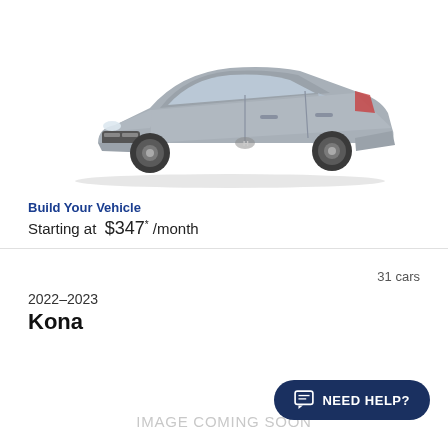[Figure (photo): Silver Hyundai Ioniq sedan shown in 3/4 front view on white background]
Build Your Vehicle
Starting at $347* /month
31 cars
2022–2023
Kona
IMAGE COMING SOON
NEED HELP?